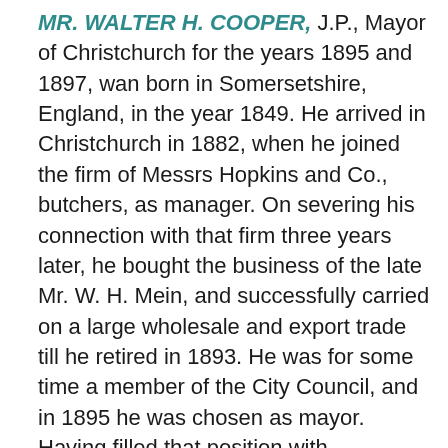MR. WALTER H. COOPER, J.P., Mayor of Christchurch for the years 1895 and 1897, wan born in Somersetshire, England, in the year 1849. He arrived in Christchurch in 1882, when he joined the firm of Messrs Hopkins and Co., butchers, as manager. On severing his connection with that firm three years later, he bought the business of the late Mr. W. H. Mein, and successfully carried on a large wholesale and export trade till he retired in 1893. He was for some time a member of the City Council, and in 1895 he was chosen as mayor. Having filled that position with satisfaction to the citizens, they again elected him to the mayoralty in 1897, for a second year of office. In his connection with public affairs Mr. Cooper has filled several important positions, notably as